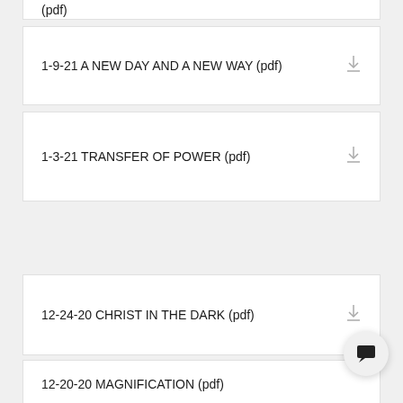(pdf)
1-9-21 A NEW DAY AND A NEW WAY (pdf)
1-3-21 TRANSFER OF POWER (pdf)
12-24-20 CHRIST IN THE DARK (pdf)
12-20-20 MAGNIFICATION (pdf)